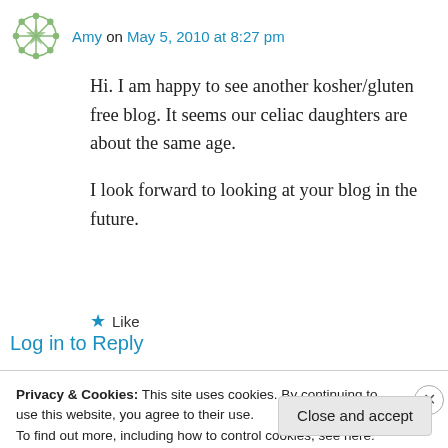Amy on May 5, 2010 at 8:27 pm
Hi. I am happy to see another kosher/gluten free blog. It seems our celiac daughters are about the same age.

I look forward to looking at your blog in the future.
★ Like
Log in to Reply
Privacy & Cookies: This site uses cookies. By continuing to use this website, you agree to their use.
To find out more, including how to control cookies, see here: Cookie Policy
Close and accept